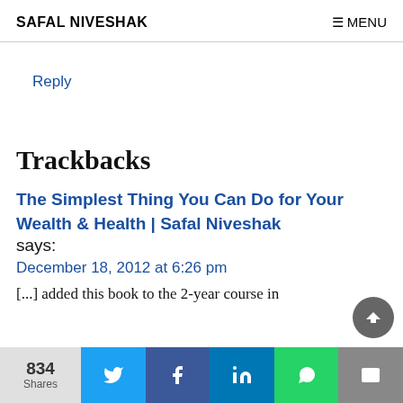SAFAL NIVESHAK    ☰ MENU
Reply
Trackbacks
The Simplest Thing You Can Do for Your Wealth & Health | Safal Niveshak says:
December 18, 2012 at 6:26 pm
[...] added this book to the 2-year course in
834 Shares